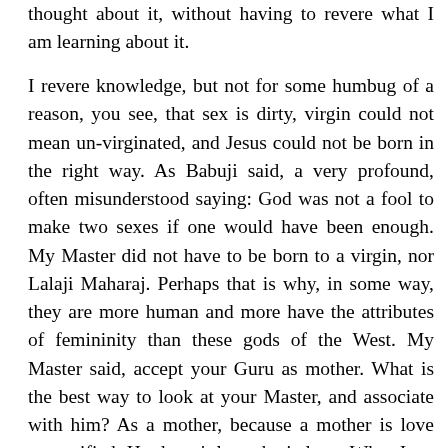thought about it, without having to revere what I am learning about it.

I revere knowledge, but not for some humbug of a reason, you see, that sex is dirty, virgin could not mean un-virginated, and Jesus could not be born in the right way. As Babuji said, a very profound, often misunderstood saying: God was not a fool to make two sexes if one would have been enough. My Master did not have to be born to a virgin, nor Lalaji Maharaj. Perhaps that is why, in some way, they are more human and more have the attributes of femininity than these gods of the West. My Master said, accept your Guru as mother. What is the best way to look at your Master, and associate with him? As a mother, because a mother is love personified. He doesn't love; he is love. What June said of Babuji Maharaj, he is love, I say of all people, if they can be love, instead of loving... In loving you have this dichotomy, whatever they were saying